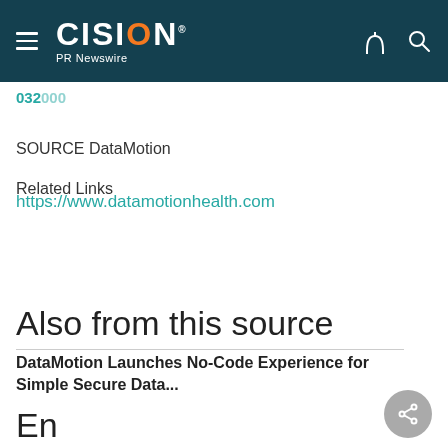CISION PR Newswire
032000
SOURCE DataMotion
Related Links
https://www.datamotionhealth.com
Also from this source
DataMotion Launches No-Code Experience for Simple Secure Data...
En...